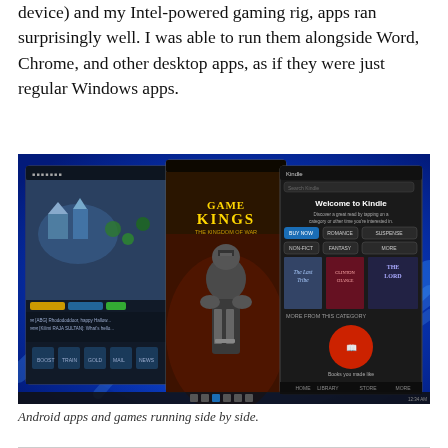device) and my Intel-powered gaming rig, apps ran surprisingly well. I was able to run them alongside Word, Chrome, and other desktop apps, as if they were just regular Windows apps.
[Figure (screenshot): Screenshot of Windows 11 desktop showing Android apps running side by side: a strategy game (Game of Kings or similar), a mobile game app, and the Kindle app, all displayed as windows on the Windows 11 desktop with the characteristic blue flower wallpaper.]
Android apps and games running side by side.